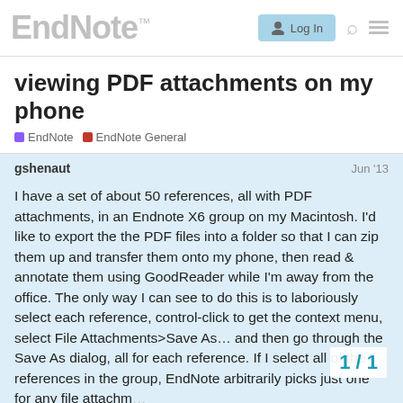EndNote™  Log In
viewing PDF attachments on my phone
EndNote  EndNote General
gshenaut  Jun '13

I have a set of about 50 references, all with PDF attachments, in an Endnote X6 group on my Macintosh. I'd like to export the the PDF files into a folder so that I can zip them up and transfer them onto my phone, then read & annotate them using GoodReader while I'm away from the office. The only way I can see to do this is to laboriously select each reference, control-click to get the context menu, select File Attachments>Save As… and then go through the Save As dialog, all for each reference. If I select all of the references in the group, EndNote arbitrarily picks just one for any file attachm…

Is there some way I can copy a collection o…
1 / 1